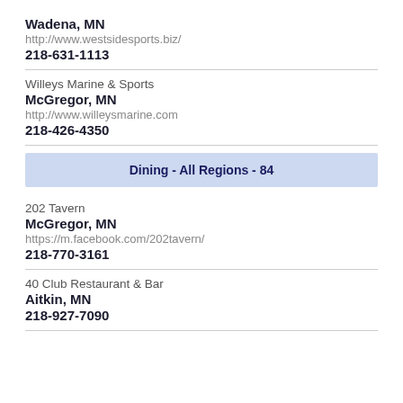Wadena, MN
http://www.westsidesports.biz/
218-631-1113
Willeys Marine & Sports
McGregor, MN
http://www.willeysmarine.com
218-426-4350
Dining - All Regions - 84
202 Tavern
McGregor, MN
https://m.facebook.com/202tavern/
218-770-3161
40 Club Restaurant & Bar
Aitkin, MN
218-927-7090